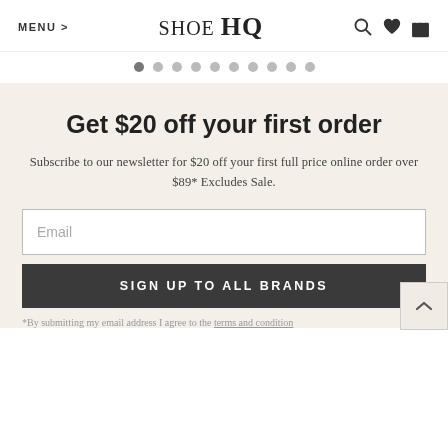MENU > | SHOE HQ | [search icon] [heart icon] [bag icon]
[Figure (other): Carousel pagination dots, 10 dots in a row]
Get $20 off your first order
Subscribe to our newsletter for $20 off your first full price online order over $89* Excludes Sale.
Email (input field placeholder)
SIGN UP TO ALL BRANDS
*By submitting my email address I agree to the terms and condition